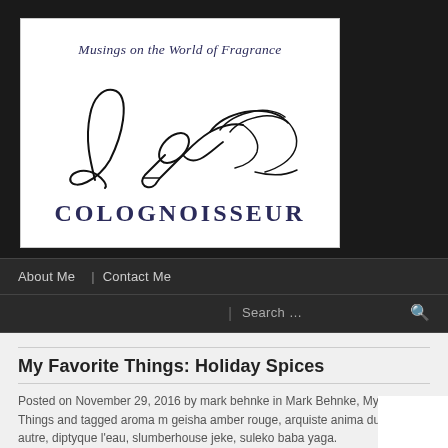[Figure (logo): Colognoisseur blog logo: line drawing of a hand holding a perfume vial up to a nose, with text 'Musings on the World of Fragrance' above and 'COLOGNOISSEUR' in large spaced serif capitals below]
About Me | Contact Me
Search …
My Favorite Things: Holiday Spices
Posted on November 29, 2016 by mark behnke in Mark Behnke, My Favorite Things and tagged aroma m geisha amber rouge, arquiste anima dulcis, autre, diptyque l'eau, slumberhouse jeke, suleko baba yaga.